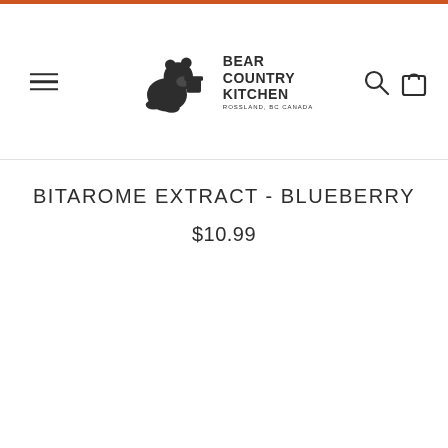[Figure (logo): Bear Country Kitchen logo with bear illustration and text: BEAR COUNTRY KITCHEN, ROSSLAND, BC CANADA]
BITAROME EXTRACT - BLUEBERRY
$10.99